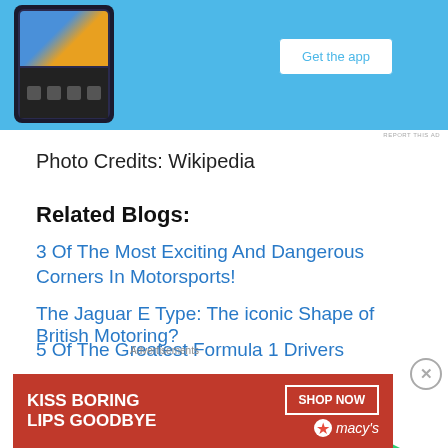[Figure (screenshot): Mobile app advertisement with blue background showing a phone screenshot and a 'Get the app' button]
REPORT THIS AD
Photo Credits: Wikipedia
Related Blogs:
3 Of The Most Exciting And Dangerous Corners In Motorsports!
The Jaguar E Type: The iconic Shape of British Motoring?
5 Of The Greatest Formula 1 Drivers
Advertisements
[Figure (screenshot): Advertisement: 'The go-to app for podcast' with green play icon]
Advertisements
[Figure (screenshot): Macy's advertisement: 'KISS BORING LIPS GOODBYE' with SHOP NOW button and Macy's branding]